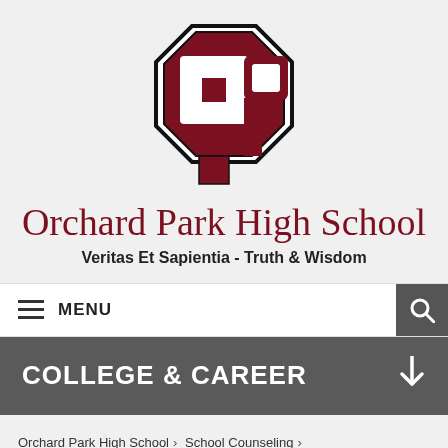[Figure (logo): Orchard Park High School logo — stylized OP letters in dark red/maroon on white octagonal background]
Orchard Park High School
Veritas Et Sapientia - Truth & Wisdom
≡ MENU
COLLEGE & CAREER
Orchard Park High School › School Counseling › College & Career › College & Career Selection
View Full Site